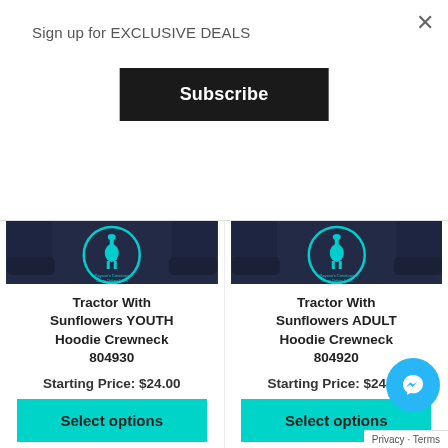Sign up for EXCLUSIVE DEALS
Subscribe
[Figure (photo): Navy blue crewneck hoodie with teal Payson's Creations circular logo on chest]
[Figure (photo): Navy blue crewneck hoodie with teal Payson's Creations circular logo on chest]
Tractor With Sunflowers YOUTH Hoodie Crewneck 804930
Tractor With Sunflowers ADULT Hoodie Crewneck 804920
Starting Price: $24.00
Starting Price: $24.00
Select options
Select options